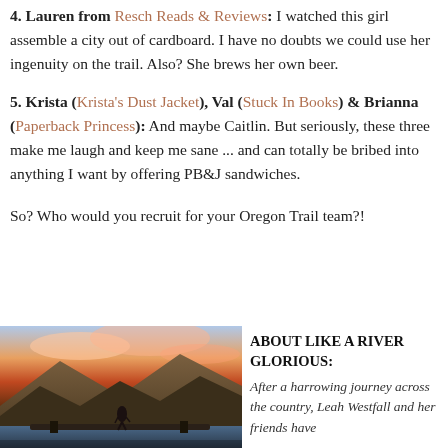4. Lauren from Resch Reads & Reviews: I watched this girl assemble a city out of cardboard. I have no doubts we could use her ingenuity on the trail. Also? She brews her own beer.
5. Krista (Krista's Dust Jacket), Val (Stuck In Books) & Brianna (Paperback Princess): And maybe Caitlin. But seriously, these three make me laugh and keep me sane ... and can totally be bribed into anything I want by offering PB&J sandwiches.
So? Who would you recruit for your Oregon Trail team?!
[Figure (photo): Outdoor scenic photo with mountains, dramatic sky with pink and orange clouds, and a figure standing on rocks near a bridge over water.]
ABOUT LIKE A RIVER GLORIOUS: After a harrowing journey across the country, Leah Westfall and her friends have